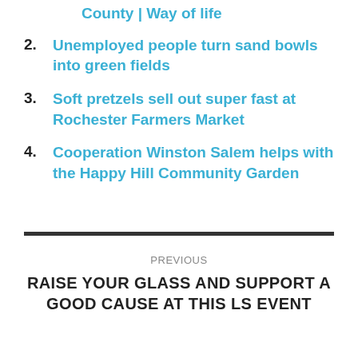County | Way of life
2. Unemployed people turn sand bowls into green fields
3. Soft pretzels sell out super fast at Rochester Farmers Market
4. Cooperation Winston Salem helps with the Happy Hill Community Garden
PREVIOUS
RAISE YOUR GLASS AND SUPPORT A GOOD CAUSE AT THIS LS EVENT